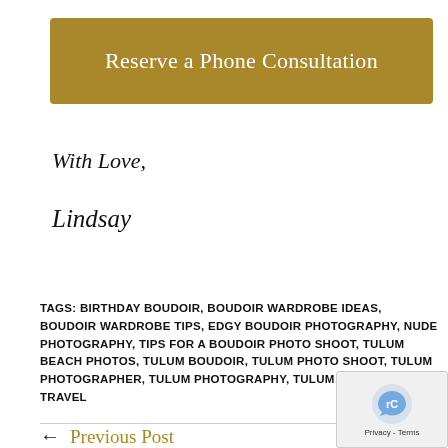[Figure (other): Gold/dark-yellow button with text 'Reserve a Phone Consultation']
With Love,
Lindsay
TAGS: BIRTHDAY BOUDOIR, BOUDOIR WARDROBE IDEAS, BOUDOIR WARDROBE TIPS, EDGY BOUDOIR PHOTOGRAPHY, NUDE PHOTOGRAPHY, TIPS FOR A BOUDOIR PHOTO SHOOT, TULUM BEACH PHOTOS, TULUM BOUDOIR, TULUM PHOTO SHOOT, TULUM PHOTOGRAPHER, TULUM PHOTOGRAPHY, TULUM PHOTOS, TULUM TRAVEL
← Previous Post